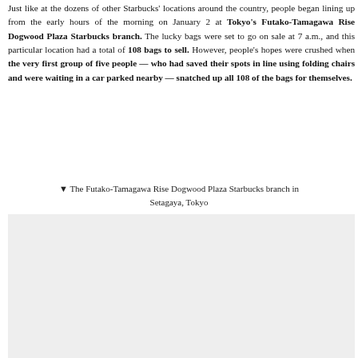Just like at the dozens of other Starbucks' locations around the country, people began lining up from the early hours of the morning on January 2 at Tokyo's Futako-Tamagawa Rise Dogwood Plaza Starbucks branch. The lucky bags were set to go on sale at 7 a.m., and this particular location had a total of 108 bags to sell. However, people's hopes were crushed when the very first group of five people — who had saved their spots in line using folding chairs and were waiting in a car parked nearby — snatched up all 108 of the bags for themselves.
▼ The Futako-Tamagawa Rise Dogwood Plaza Starbucks branch in Setagaya, Tokyo
[Figure (photo): A gray placeholder rectangle representing a photo of the Futako-Tamagawa Rise Dogwood Plaza Starbucks branch in Setagaya, Tokyo.]